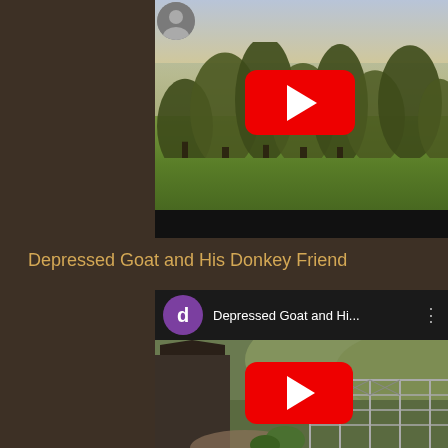[Figure (screenshot): YouTube video thumbnail showing a landscape with trees, green fields, golden sky, and a YouTube play button overlay. Partial avatar icon visible at top left of card.]
Depressed Goat and His Donkey Friend
[Figure (screenshot): YouTube video card for 'Depressed Goat and Hi...' with purple 'd' avatar, three-dot menu, and thumbnail showing a barn/farm scene with chain link fence, green hills, and a YouTube play button overlay.]